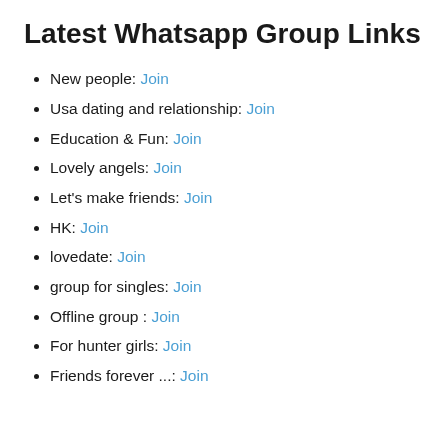Latest Whatsapp Group Links
New people: Join
Usa dating and relationship: Join
Education & Fun: Join
Lovely angels: Join
Let's make friends: Join
HK: Join
lovedate: Join
group for singles: Join
Offline group : Join
For hunter girls: Join
Friends forever ...: Join